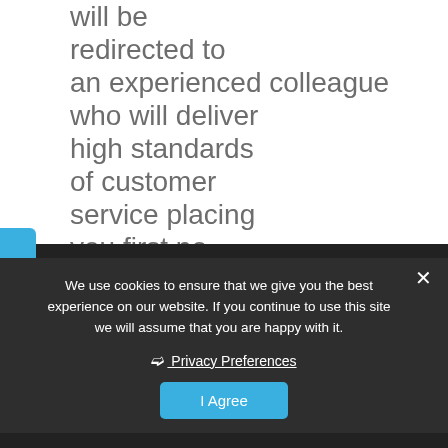will be redirected to an experienced colleague who will deliver high standards of customer service placing you first no matter what.
We use cookies to ensure that we give you the best experience on our website. If you continue to use this site we will assume that you are happy with it.
❯ Privacy Preferences
I Agree
Washroom & Janitorial Supplies UK Nationwide